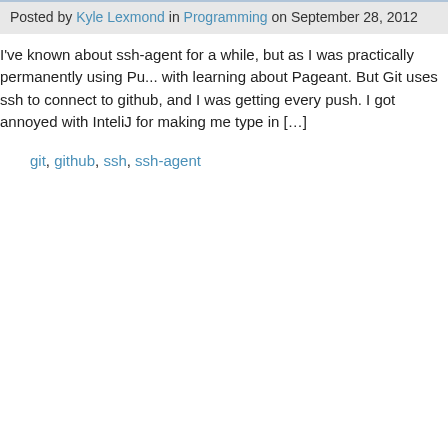Posted by Kyle Lexmond in Programming on September 28, 2012
I've known about ssh-agent for a while, but as I was practically permanently using Pu... with learning about Pageant. But Git uses ssh to connect to github, and I was getting every push. I got annoyed with InteliJ for making me type in […]
git, github, ssh, ssh-agent